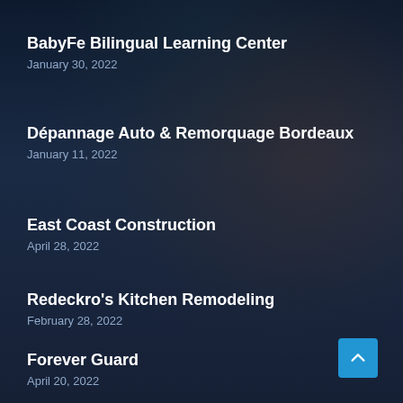BabyFe Bilingual Learning Center
January 30, 2022
Dépannage Auto & Remorquage Bordeaux
January 11, 2022
East Coast Construction
April 28, 2022
Redeckro's Kitchen Remodeling
February 28, 2022
Forever Guard
April 20, 2022